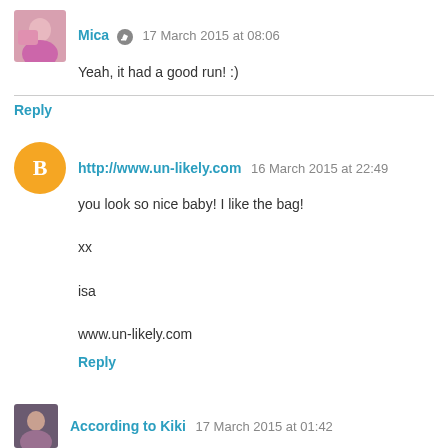[Figure (photo): Avatar photo of Mica, a woman in pink top]
Mica 🔘 17 March 2015 at 08:06
Yeah, it had a good run! :)
Reply
[Figure (logo): Orange circle Blogger icon]
http://www.un-likely.com  16 March 2015 at 22:49
you look so nice baby! I like the bag!

xx

isa

www.un-likely.com
Reply
[Figure (photo): Avatar photo of According to Kiki]
According to Kiki  17 March 2015 at 01:42
I'm really trying to build my under shirt and tee collection. The...